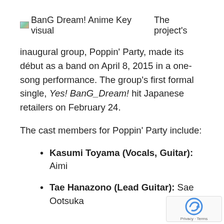[Figure (illustration): Small thumbnail image placeholder for BanG Dream! Anime Key visual]
BanG Dream! Anime Key visualThe project's inaugural group, Poppin’ Party, made its début as a band on April 8, 2015 in a one-song performance. The group’s first formal single, Yes! BanG_Dream! hit Japanese retailers on February 24.
The cast members for Poppin’ Party include:
Kasumi Toyama (Vocals, Guitar): Aimi
Tae Hanazono (Lead Guitar): Sae Ootsuka